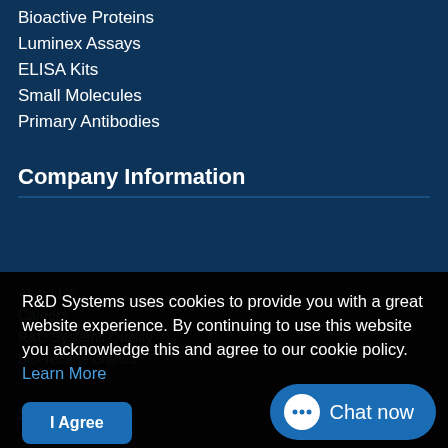Bioactive Proteins
Luminex Assays
ELISA Kits
Small Molecules
Primary Antibodies
Company Information
R&D Systems uses cookies to provide you with a great website experience. By continuing to use this website you acknowledge this and agree to our cookie policy. Learn More
About Us
Careers
R&D Systems Quality
Bio-Techne Brands
Support